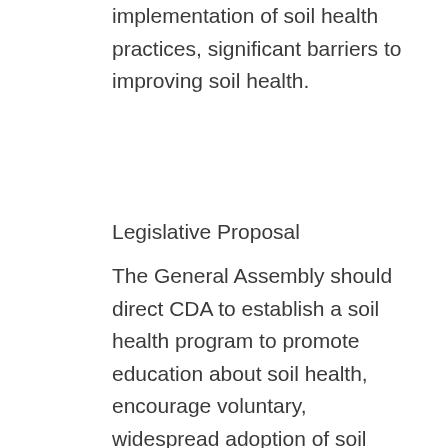implementation of soil health practices, significant barriers to improving soil health.
Legislative Proposal
The General Assembly should direct CDA to establish a soil health program to promote education about soil health, encourage voluntary, widespread adoption of soil health practices, increase producer profitability, and advance the scientific understanding of soil health. It